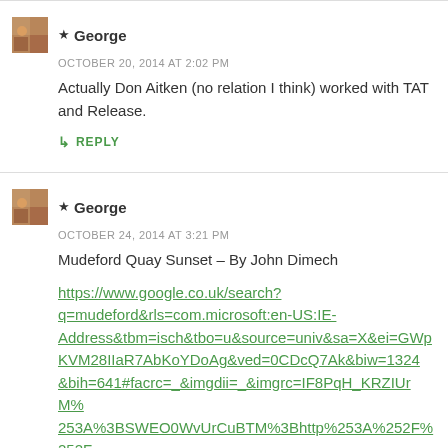★ George
OCTOBER 20, 2014 AT 2:02 PM
Actually Don Aitken (no relation I think) worked with TAT and Release.
↳ REPLY
★ George
OCTOBER 24, 2014 AT 3:21 PM
Mudeford Quay Sunset – By John Dimech
https://www.google.co.uk/search?q=mudeford&rls=com.microsoft:en-US:IE-Address&tbm=isch&tbo=u&source=univ&sa=X&ei=GWpKVM28IIaR7AbKoYDoAg&ved=0CDcQ7Ak&biw=1324&bih=641#facrc=_&imgdii=_&imgrc=IF8PqH_KRZIUrM%253A%3BSWEO0WvUrCuBTM%3Bhttp%253A%252F%252F